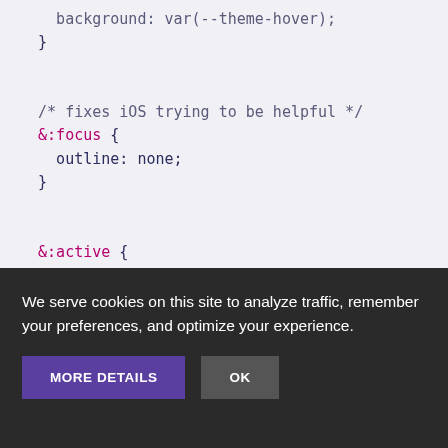[Figure (screenshot): Code block on light gray background showing CSS snippet with &:focus and &:active selectors, a comment, outline and background properties using CSS custom properties]
We serve cookies on this site to analyze traffic, remember your preferences, and optimize your experience.
MORE DETAILS
OK